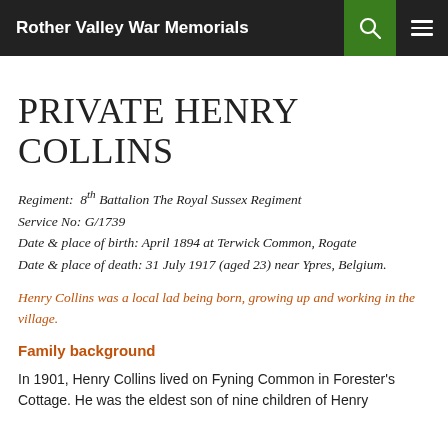Rother Valley War Memorials
PRIVATE HENRY COLLINS
Regiment: 8th Battalion The Royal Sussex Regiment
Service No: G/1739
Date & place of birth: April 1894 at Terwick Common, Rogate
Date & place of death: 31 July 1917 (aged 23) near Ypres, Belgium.
Henry Collins was a local lad being born, growing up and working in the village.
Family background
In 1901, Henry Collins lived on Fyning Common in Forester's Cottage. He was the eldest son of nine children of Henry